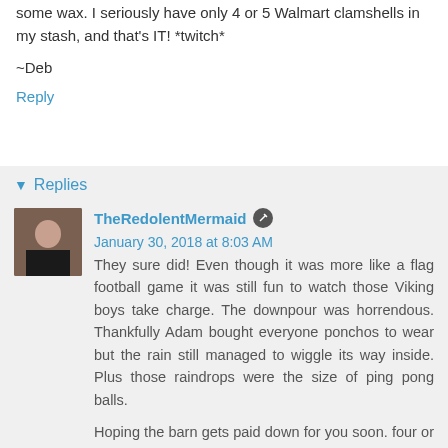some wax. I seriously have only 4 or 5 Walmart clamshells in my stash, and that's IT! *twitch*
~Deb
Reply
Replies
TheRedolentMermaid  January 30, 2018 at 8:03 AM
They sure did! Even though it was more like a flag football game it was still fun to watch those Viking boys take charge. The downpour was horrendous. Thankfully Adam bought everyone ponchos to wear but the rain still managed to wiggle its way inside. Plus those raindrops were the size of ping pong balls.

Hoping the barn gets paid down for you soon. four or five clamshells?! You are so good. Let me know if you want/need me to send you any wax. I know it is more fun when you can pick your own